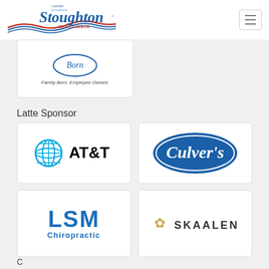[Figure (logo): Stoughton Chamber of Commerce Wisconsin logo with blue/red wave design]
[Figure (logo): Company logo with circular emblem and text: Family Born. Employee Owned.]
Latte Sponsor
[Figure (logo): AT&T logo with blue globe icon and bold AT&T text]
[Figure (logo): Culver's logo in blue oval with cursive white text]
[Figure (logo): LSM Chiropractic logo in blue]
[Figure (logo): Skaalen logo with golden floral emblem and bold text]